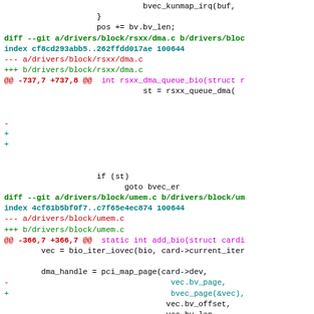Code diff showing changes to drivers/block/rsxx/dma.c, drivers/block/umem.c, and drivers/block/zram/zram_drv.c
[Figure (screenshot): Git diff output showing source code changes in C driver files. Shows diff for rsxx/dma.c (index cf8cd293abb5..262ffdd017ae 100644, hunk @@ -737,7 +737,8 @@) and umem.c (index 4cf81b5bf0f7..c7f65e4ec874 100644, hunk @@ -366,7 +366,7 @@, with changes to vec.bv_page replaced by bvec_page(&vec)), and beginning of zram_drv.c diff.]